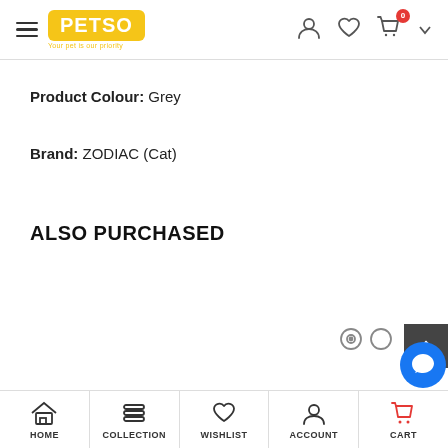[Figure (screenshot): PETSO website header with hamburger menu, logo, user icon, heart icon, and shopping cart with badge 0]
Product Colour: Grey
Brand: ZODIAC (Cat)
ALSO PURCHASED
[Figure (screenshot): Bottom navigation bar with Home, Collection, Wishlist, Account, Cart icons]
[Figure (screenshot): Scroll-to-top button (dark grey with up arrow)]
[Figure (screenshot): Facebook Messenger chat button (blue circle)]